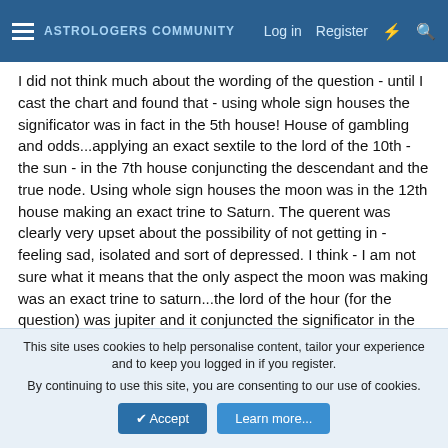ASTROLOGERS COMMUNITY — Log in | Register
I did not think much about the wording of the question - until I cast the chart and found that - using whole sign houses the significator was in fact in the 5th house! House of gambling and odds...applying an exact sextile to the lord of the 10th - the sun - in the 7th house conjuncting the descendant and the true node. Using whole sign houses the moon was in the 12th house making an exact trine to Saturn. The querent was clearly very upset about the possibility of not getting in - feeling sad, isolated and sort of depressed. I think - I am not sure what it means that the only aspect the moon was making was an exact trine to saturn...the lord of the hour (for the question) was jupiter and it conjuncted the significator in the 5th house.
When I cast the chart using default house system for astrodiest - significator is in the 4th - the moon is in the 11th house looking
This site uses cookies to help personalise content, tailor your experience and to keep you logged in if you register.
By continuing to use this site, you are consenting to our use of cookies.